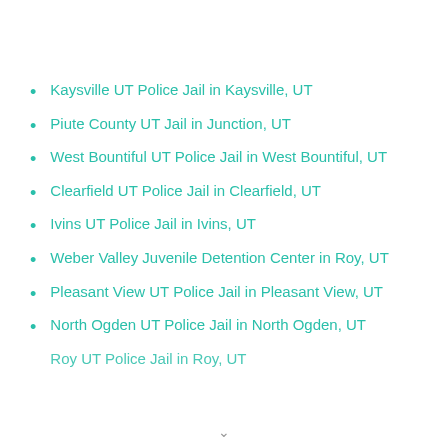Kaysville UT Police Jail in Kaysville, UT
Piute County UT Jail in Junction, UT
West Bountiful UT Police Jail in West Bountiful, UT
Clearfield UT Police Jail in Clearfield, UT
Ivins UT Police Jail in Ivins, UT
Weber Valley Juvenile Detention Center in Roy, UT
Pleasant View UT Police Jail in Pleasant View, UT
North Ogden UT Police Jail in North Ogden, UT
Roy UT Police Jail in Roy, UT